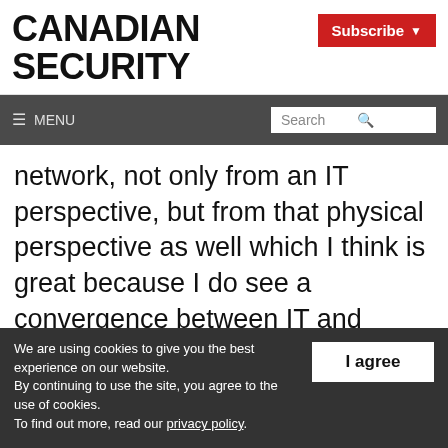CANADIAN SECURITY
Subscribe
≡ MENU | Search
network, not only from an IT perspective, but from that physical perspective as well which I think is great because I do see a convergence between IT and physical security. From walking in the front gate
We are using cookies to give you the best experience on our website. By continuing to use the site, you agree to the use of cookies. To find out more, read our privacy policy.